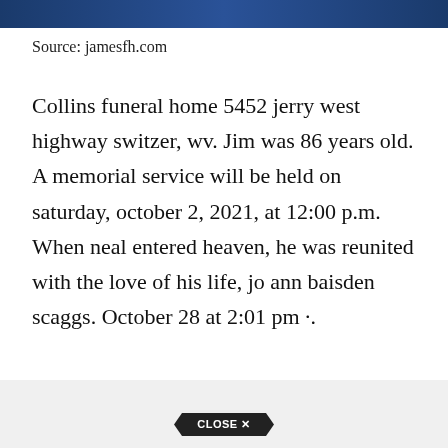[Figure (photo): Dark blue banner image at the top of the page]
Source: jamesfh.com
Collins funeral home 5452 jerry west highway switzer, wv. Jim was 86 years old. A memorial service will be held on saturday, october 2, 2021, at 12:00 p.m. When neal entered heaven, he was reunited with the love of his life, jo ann baisden scaggs. October 28 at 2:01 pm ·.